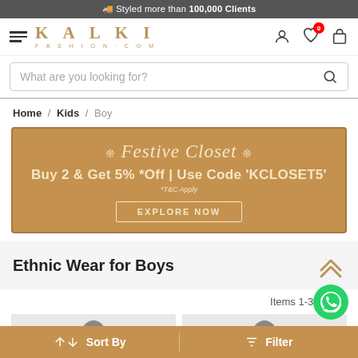🚚 Styled more than 100,000 Clients
[Figure (logo): KALKI FASHION.COM logo with hamburger menu and nav icons (account, wishlist with 0 badge, bag)]
What are you looking for?
Home / Kids / Boy
[Figure (infographic): Festive Closet promo banner: ❊ Festive Closet ❊ / Buy 2 & Get 5% *Off | Use Code 'KCLOSET5' / *T&C Apply / EXPLORE NOW button]
Ethnic Wear for Boys
Items 1-30 of 30
[Figure (photo): Two product thumbnail cards with 15% discount badges visible]